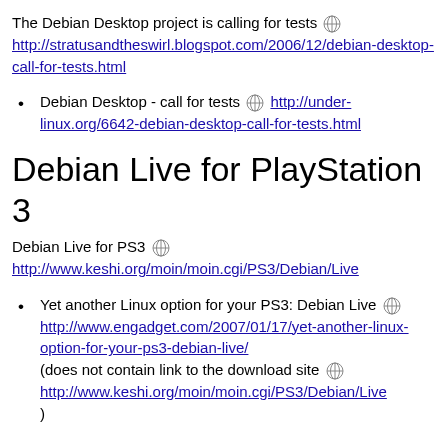The Debian Desktop project is calling for tests http://stratusandtheswirl.blogspot.com/2006/12/debian-desktop-call-for-tests.html
Debian Desktop - call for tests http://under-linux.org/6642-debian-desktop-call-for-tests.html
Debian Live for PlayStation 3
Debian Live for PS3 http://www.keshi.org/moin/moin.cgi/PS3/Debian/Live
Yet another Linux option for your PS3: Debian Live http://www.engadget.com/2007/01/17/yet-another-linux-option-for-your-ps3-debian-live/ (does not contain link to the download site http://www.keshi.org/moin/moin.cgi/PS3/Debian/Live )